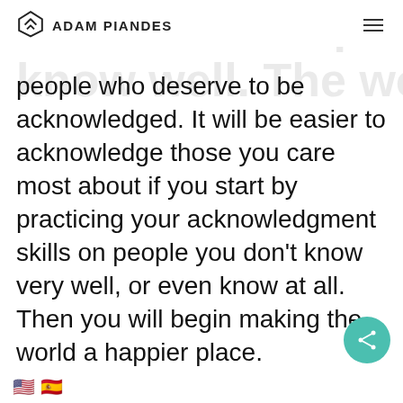ADAM PIANDES
people who deserve to be acknowledged. It will be easier to acknowledge those you care most about if you start by practicing your acknowledgment skills on people you don't know very well, or even know at all. Then you will begin making the world a happier place.
2. Build Intimacy and meaning:
Acknowledgment builds intimacy and creates powerful interactions. Acknowledge the
🇺🇸 🇪🇸